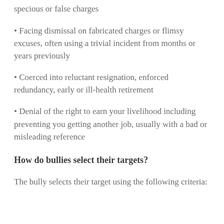specious or false charges
Facing dismissal on fabricated charges or flimsy excuses, often using a trivial incident from months or years previously
Coerced into reluctant resignation, enforced redundancy, early or ill-health retirement
Denial of the right to earn your livelihood including preventing you getting another job, usually with a bad or misleading reference
How do bullies select their targets?
The bully selects their target using the following criteria: